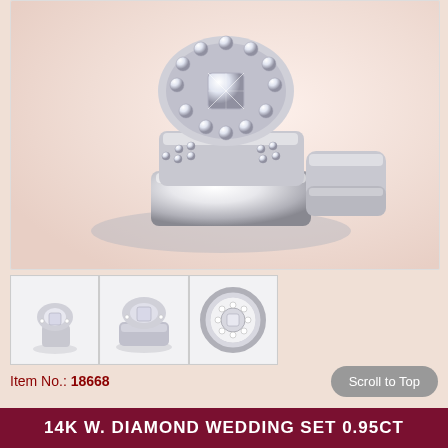[Figure (photo): Close-up photo of a diamond wedding ring set (two bands with pavé diamonds and halo setting) on a light peach/blush gradient background]
[Figure (photo): Thumbnail 1: Angled front view of diamond halo engagement ring set]
[Figure (photo): Thumbnail 2: Side profile view of diamond halo engagement ring set]
[Figure (photo): Thumbnail 3: Top-down view of diamond halo engagement ring]
Item No.: 18668
Scroll to Top
14K W. DIAMOND WEDDING SET 0.95CT